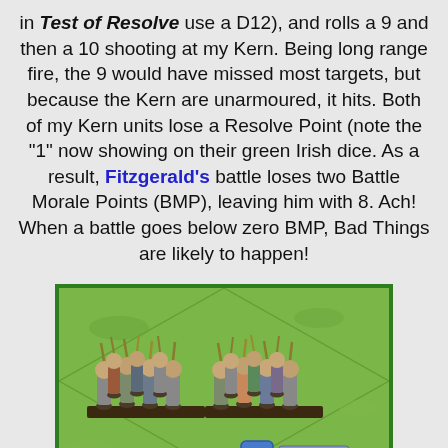in Test of Resolve use a D12), and rolls a 9 and then a 10 shooting at my Kern. Being long range fire, the 9 would have missed most targets, but because the Kern are unarmoured, it hits. Both of my Kern units lose a Resolve Point (note the "1" now showing on their green Irish dice. As a result, Fitzgerald's battle loses two Battle Morale Points (BMP), leaving him with 8. Ach! When a battle goes below zero BMP, Bad Things are likely to happen!
[Figure (photo): Photo of miniature wargaming figures (Kern infantry units) on a green grass hex-grid terrain mat. Two groups of figures stand on bases with a blue die showing 1 and a label marker reading 'Inferior'.]